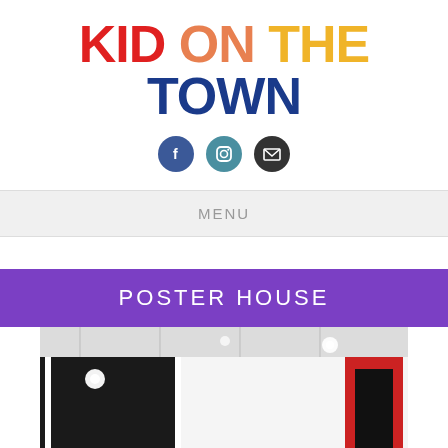KID ON THE TOWN
[Figure (illustration): Social media icons: Facebook (blue circle with f), Instagram (teal circle with camera), Email (dark circle with envelope)]
MENU
POSTER HOUSE
[Figure (photo): Interior of Poster House gallery showing white walls, track lighting on ceiling, a large black wall panel with spotlights, and colorful artwork (red/black framed piece) on right wall.]